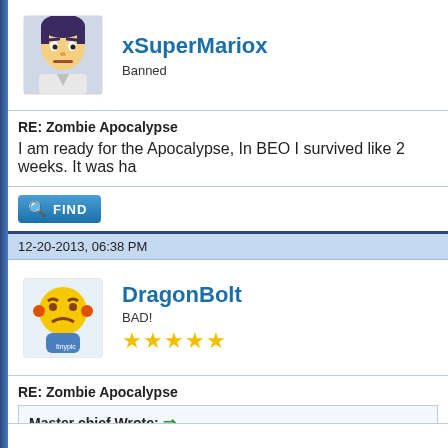xSuperMariox
Banned
RE: Zombie Apocalypse
I am ready for the Apocalypse, In BEO I survived like 2 weeks. It was ha
FIND
12-20-2013, 06:38 PM
DragonBolt
BAD!
RE: Zombie Apocalypse
Master chief Wrote: → they might bring it back later. but I probably will never get it 🙂 (get wh
I see what you did there master chief!